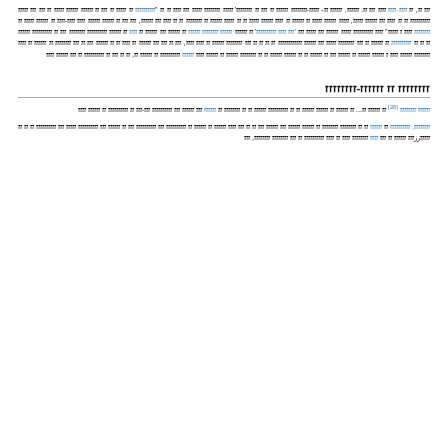Body text paragraph in Hebrew/RTL script with embedded hyperlinks throughout, continuing from previous page.
Section header in Hebrew script
Quote block 1 with speaker name and superscript reference [38]
Quote block 2 with multiple linked names